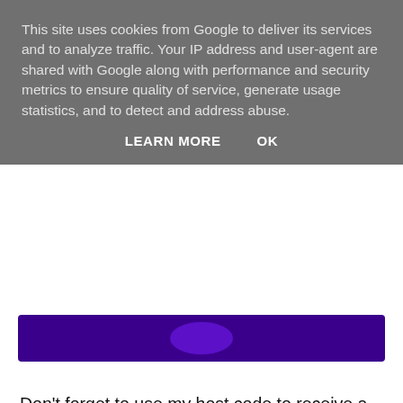This site uses cookies from Google to deliver its services and to analyze traffic. Your IP address and user-agent are shared with Google along with performance and security metrics to ensure quality of service, generate usage statistics, and to detect and address abuse.
LEARN MORE   OK
Don't forget to use my host code to receive a share of the Stampin' rewards as a thank you for shopping with me :-)
Host code is 2XQNNUR7
If your order is £150 or more before P&P then do not use the host code as you qualify for host rewards on